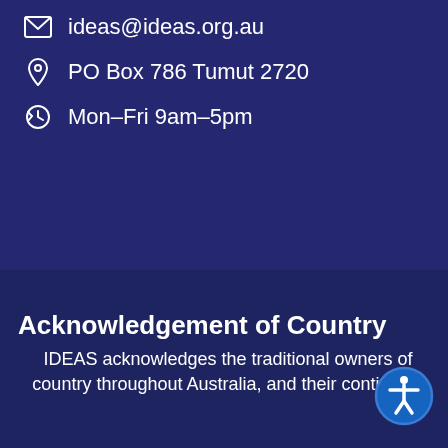ideas@ideas.org.au
PO Box 786 Tumut 2720
Mon-Fri 9am-5pm
Acknowledgement of Country
IDEAS acknowledges the traditional owners of country throughout Australia, and their continuing